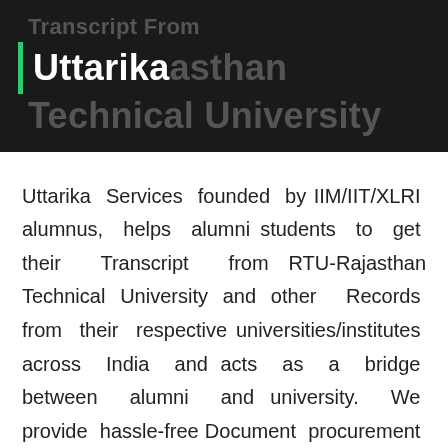Transcript From Rajasthan Technical University
Uttarika
Uttarika Services founded by IIM/IIT/XLRI alumnus, helps alumni students to get their Transcript from RTU-Rajasthan Technical University and other Records from their respective universities/institutes across India and acts as a bridge between alumni and university. We provide hassle-free Document procurement which saves your time and energy at very low cost.